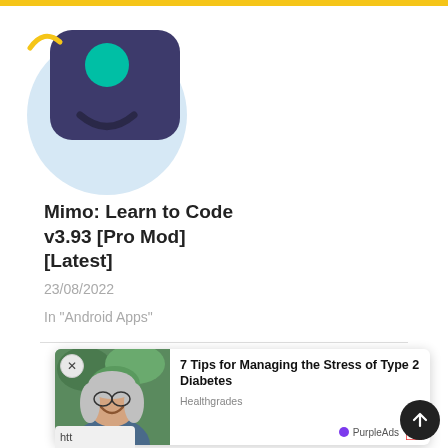[Figure (illustration): App icon illustration for Mimo: Learn to Code — dark purple wallet/card shape with teal dot on light blue circular background, with yellow curved accent]
Mimo: Learn to Code v3.93 [Pro Mod] [Latest]
23/08/2022
In "Android Apps"
Share Article:
[Figure (screenshot): Advertisement overlay showing a smiling woman with grey hair, promoting '7 Tips for Managing the Stress of Type 2 Diabetes' from Healthgrades, with PurpleAds label and close button]